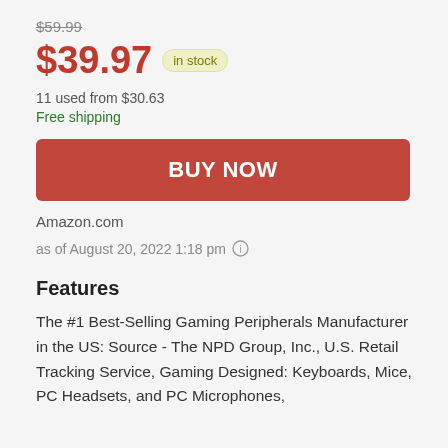$59.99
$39.97 in stock
11 used from $30.63
Free shipping
BUY NOW
Amazon.com
as of August 20, 2022 1:18 pm
Features
The #1 Best-Selling Gaming Peripherals Manufacturer in the US: Source - The NPD Group, Inc., U.S. Retail Tracking Service, Gaming Designed: Keyboards, Mice, PC Headsets, and PC Microphones,